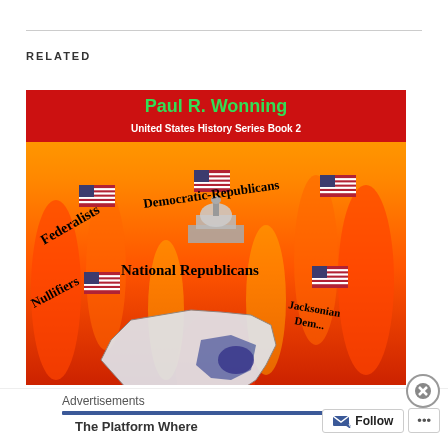RELATED
[Figure (illustration): Book cover for 'United States History Series Book 2' by Paul R. Wonning. Red background at top with author name in green. Background shows flames with text labels of American political parties: Federalists, Democratic-Republicans, National Republicans, Nullifiers, Jacksonian Democrats. Small American flags and a US Capitol building graphic and a US map are shown.]
Advertisements
The Platform Where